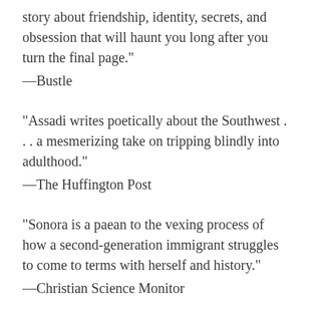story about friendship, identity, secrets, and obsession that will haunt you long after you turn the final page."
—Bustle
"Assadi writes poetically about the Southwest . . . a mesmerizing take on tripping blindly into adulthood."
—The Huffington Post
"Sonora is a paean to the vexing process of how a second-generation immigrant struggles to come to terms with herself and history."
—Christian Science Monitor
"Hannah Lillith Assadi's Sonora is a beautiful